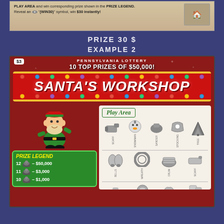[Figure (photo): Top portion of a scratch lottery ticket showing instructions: 'PLAY AREA and win corresponding prize shown in the PRIZE LEGEND. Reveal an (WIN30) symbol, win $30 instantly!']
PRIZE 30 $
EXAMPLE 2
[Figure (photo): Pennsylvania Lottery scratch ticket: Santa's Workshop. $3 ticket. 10 TOP PRIZES OF $50,000! Features an elf character, Prize Legend showing 12 hats=$50,000, 11 hats=$3,000, 10 hats=$1,000. Play Area with Christmas-themed icons in rows: SCARF, SNOWMAN, SANDER(?), STOCKING, TREE; BELLS, WREATH, DRUM, SCARF; and a third row partially visible with SKATE and other icons.]